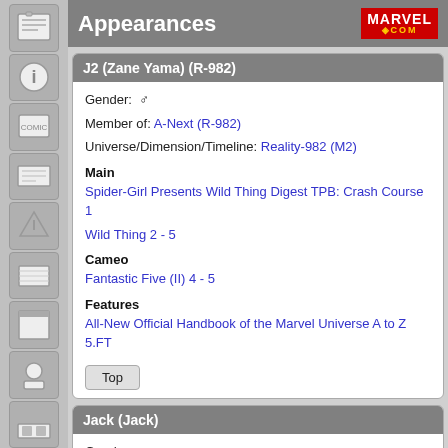Appearances
J2 (Zane Yama) (R-982)
Gender: ♂
Member of: A-Next (R-982)
Universe/Dimension/Timeline: Reality-982 (M2)
Main
Spider-Girl Presents Wild Thing Digest TPB: Crash Course 1
Wild Thing 2 - 5
Cameo
Fantastic Five (II) 4 - 5
Features
All-New Official Handbook of the Marvel Universe A to Z 5.FT
Jack (Jack)
Gender: ♂
Employed by: Department H
Features
Wolverine Encyclopedia 1.FT